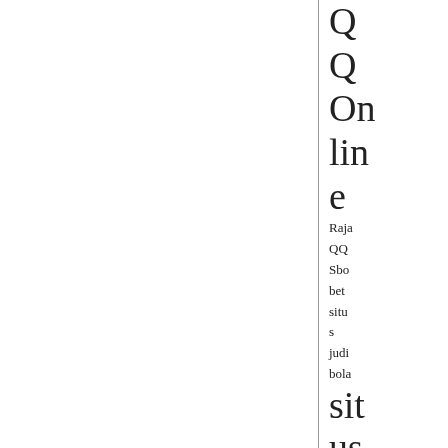Q
Q
Online
Raja
QQ
Sbobet
situs
judi
bola
sit
us
it